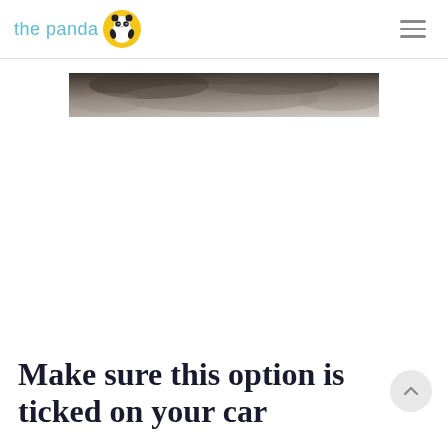the panda
[Figure (photo): A blurry/dark photo of a car or automotive scene, partially visible at the top of the page content area]
Make sure this option is ticked on your car